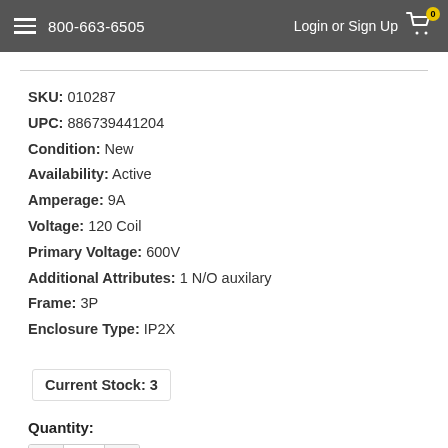800-663-6505  Login or Sign Up
SKU: 010287
UPC: 886739441204
Condition: New
Availability: Active
Amperage: 9A
Voltage: 120 Coil
Primary Voltage: 600V
Additional Attributes: 1 N/O auxilary
Frame: 3P
Enclosure Type: IP2X
Current Stock: 3
Quantity:
1